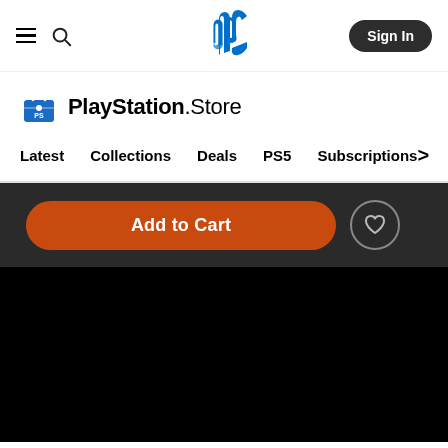PlayStation Store navigation header with hamburger menu, search icon, PlayStation logo, and Sign In button
[Figure (logo): PlayStation Store logo with shopping bag icon and text 'PlayStation.Store']
Latest   Collections   Deals   PS5   Subscriptions >
[Figure (screenshot): Dark strip with orange 'Add to Cart' button and heart/wishlist button on dark background, followed by a large black image area below]